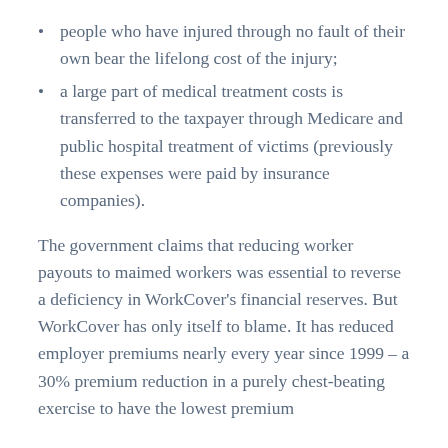people who have injured through no fault of their own bear the lifelong cost of the injury;
a large part of medical treatment costs is transferred to the taxpayer through Medicare and public hospital treatment of victims (previously these expenses were paid by insurance companies).
The government claims that reducing worker payouts to maimed workers was essential to reverse a deficiency in WorkCover's financial reserves. But WorkCover has only itself to blame. It has reduced employer premiums nearly every year since 1999 – a 30% premium reduction in a purely chest-beating exercise to have the lowest premium